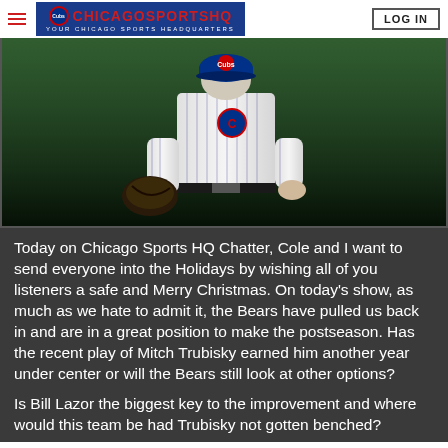ChicagoSportsHQ YOUR CHICAGO SPORTS HEADQUARTERS | LOG IN
[Figure (photo): A Chicago Cubs baseball player in white pinstripe uniform with Cubs logo on cap, holding a baseball glove, standing on a dark green field background.]
Today on Chicago Sports HQ Chatter, Cole and I want to send everyone into the Holidays by wishing all of you listeners a safe and Merry Christmas. On today's show, as much as we hate to admit it, the Bears have pulled us back in and are in a great position to make the postseason. Has the recent play of Mitch Trubisky earned him another year under center or will the Bears still look at other options?
Is Bill Lazor the biggest key to the improvement and where would this team be had Trubisky not gotten benched?